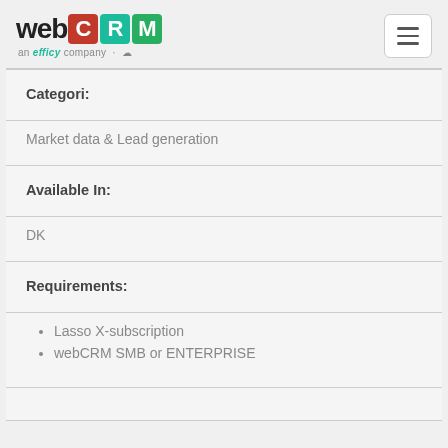webCRM an efficy company
Categori:
Market data & Lead generation
Available In:
DK
Requirements:
Lasso X-subscription
webCRM SMB or ENTERPRISE